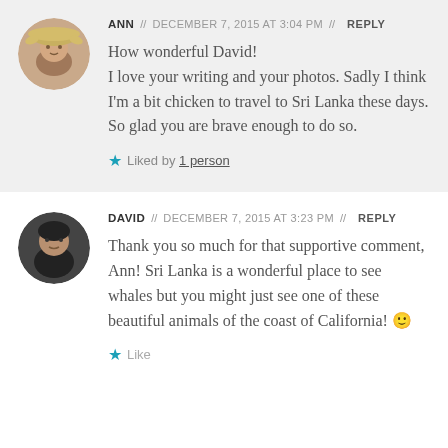[Figure (photo): Circular avatar photo of Ann, a woman wearing a straw hat]
ANN // DECEMBER 7, 2015 AT 3:04 PM // REPLY
How wonderful David!
I love your writing and your photos. Sadly I think I'm a bit chicken to travel to Sri Lanka these days. So glad you are brave enough to do so.
Liked by 1 person
[Figure (photo): Circular avatar photo of David, a man with short dark hair]
DAVID // DECEMBER 7, 2015 AT 3:23 PM // REPLY
Thank you so much for that supportive comment, Ann! Sri Lanka is a wonderful place to see whales but you might just see one of these beautiful animals of the coast of California! 🙂